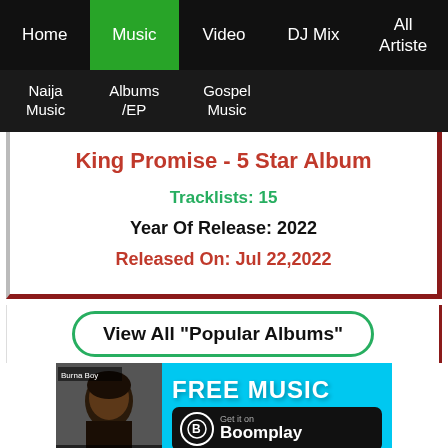Home | Music | Video | DJ Mix | All Artiste
Naija Music | Albums /EP | Gospel Music
King Promise - 5 Star Album
Tracklists: 15
Year Of Release: 2022
Released On: Jul 22,2022
View All "Popular Albums"
[Figure (screenshot): Boomplay music app advertisement banner showing a Burna Boy album screenshot and FREE MUSIC / Get it on Boomplay text]